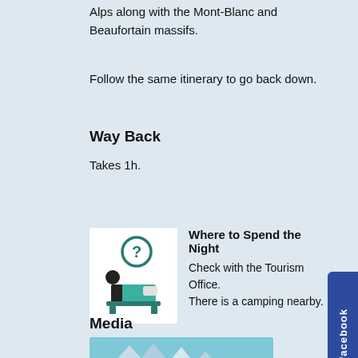Alps along with the Mont-Blanc and Beaufortain massifs.
Follow the same itinerary to go back down.
Way Back
Takes 1h.
[Figure (illustration): Hotel/accommodation icon with a person in bed and a question mark in a teal circle above]
Where to Spend the Night
Check with the Tourism Office. There is a camping nearby.
Media
[Figure (photo): Mountain landscape photo showing alpine peaks with snow and green hills]